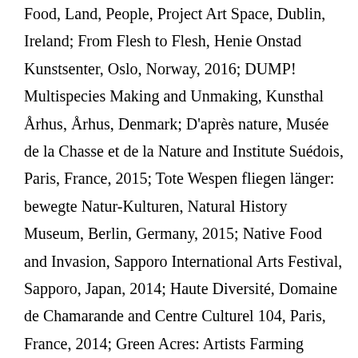Food, Land, People, Project Art Space, Dublin, Ireland; From Flesh to Flesh, Henie Onstad Kunstsenter, Oslo, Norway, 2016; DUMP! Multispecies Making and Unmaking, Kunsthal Århus, Århus, Denmark; D'après nature, Musée de la Chasse et de la Nature and Institute Suédois, Paris, France, 2015; Tote Wespen fliegen länger: bewegte Natur-Kulturen, Natural History Museum, Berlin, Germany, 2015; Native Food and Invasion, Sapporo International Arts Festival, Sapporo, Japan, 2014; Haute Diversité, Domaine de Chamarande and Centre Culturel 104, Paris, France, 2014; Green Acres: Artists Farming Fields, Greenhouses and Abandoned Lots, Contemporary Arts Center, Cincinnati, USA, 2012; Hungry City (Kunstraum Kreuzberg, Berlin, Germany, 2012); The Order of Potatoes (The Worldly House, dOCUMENTA (13), Kassel, Germany, 2012), The Way Potatoes Go (EATLACMA, LACMA, Los Angeles, USA, 2010), Small Potatoes Make Big Noice (4th Bucharest Biennale,